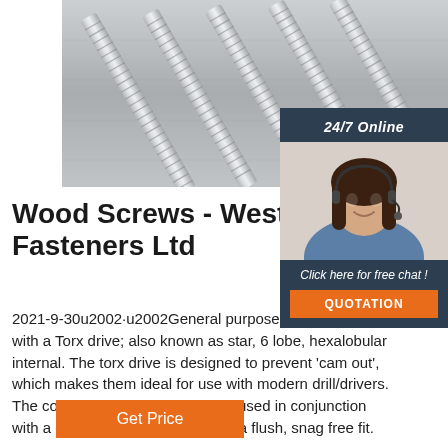[Figure (photo): Close-up photo of multiple metallic threaded screws (wood screws) arranged diagonally on a grey metal surface background.]
[Figure (photo): Sidebar widget showing a woman with a headset smiling, representing a 24/7 online customer support agent.]
Wood Screws - Westfield Fasteners Ltd
2021-9-30u2002·u2002General purpose wood screws with a Torx drive; also known as star, 6 lobe, hexalobular internal. The torx drive is designed to prevent 'cam out', which makes them ideal for use with modern drill/drivers. The countersunk head is typically used in conjunction with a countersunk hole providing a flush, snag free fit.
Get Price